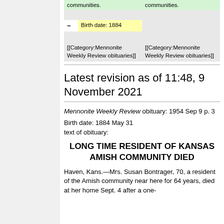| (empty) | communities. |
| (empty) | (empty) |
| – Birth date: 1884 | (empty) |
| (empty) | (empty) |
| [[Category:Mennonite Weekly Review obituaries]] | [[Category:Mennonite Weekly Review obituaries]] |
Latest revision as of 11:48, 9 November 2021
Mennonite Weekly Review obituary: 1954 Sep 9 p. 3
Birth date: 1884 May 31
text of obituary:
LONG TIME RESIDENT OF KANSAS AMISH COMMUNITY DIED
Haven, Kans.—Mrs. Susan Bontrager, 70, a resident of the Amish community near here for 64 years, died at her home Sept. 4 after a one-